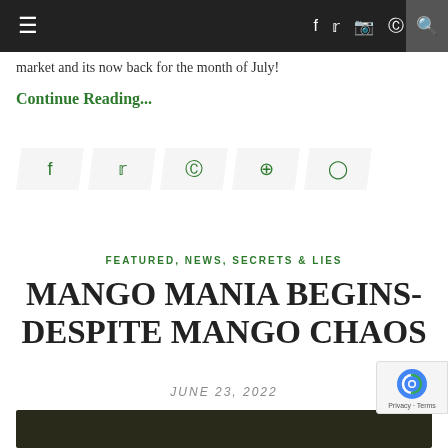≡  f  🐦  📷   pinterest  ▶  🔍
market and its now back for the month of July!
Continue Reading...
[Figure (other): Social share buttons: Facebook, Twitter, Pinterest, Google+, Comment]
FEATURED, NEWS, SECRETS & LIES
MANGO MANIA BEGINS- DESPITE MANGO CHAOS
JUNE 23, 2022
[Figure (photo): Dark image strip at the bottom of the page]